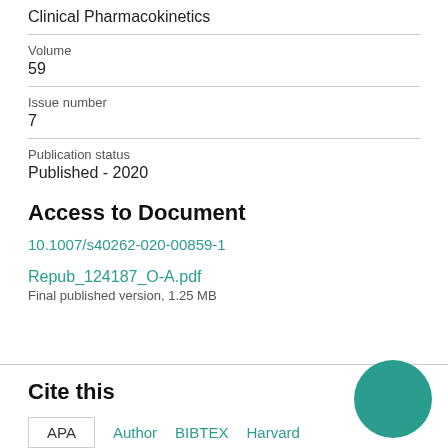Clinical Pharmacokinetics
Volume
59
Issue number
7
Publication status
Published - 2020
Access to Document
10.1007/s40262-020-00859-1
Repub_124187_O-A.pdf
Final published version, 1.25 MB
Cite this
APA
Author
BIBTEX
Harvard